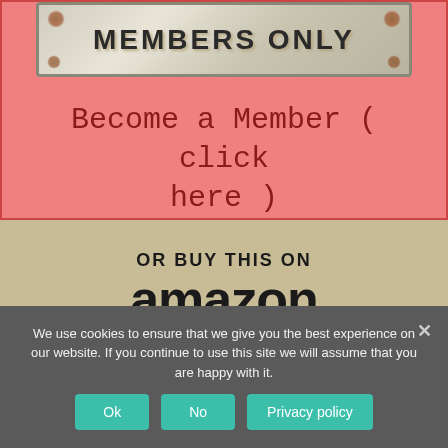[Figure (photo): A rusty metal sign reading MEMBERS ONLY on a pink/salmon background with a red border]
Become a Member ( click here )
OR BUY THIS ON amazon
We use cookies to ensure that we give you the best experience on our website. If you continue to use this site we will assume that you are happy with it.
Ok  No  Privacy policy